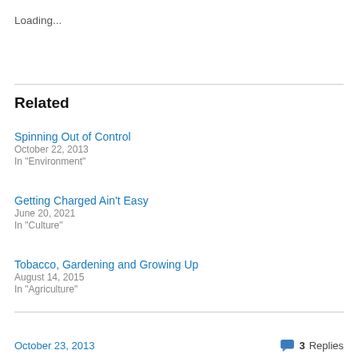Loading...
Related
Spinning Out of Control
October 22, 2013
In "Environment"
Getting Charged Ain't Easy
June 20, 2021
In "Culture"
Tobacco, Gardening and Growing Up
August 14, 2015
In "Agriculture"
October 23, 2013
3 Replies